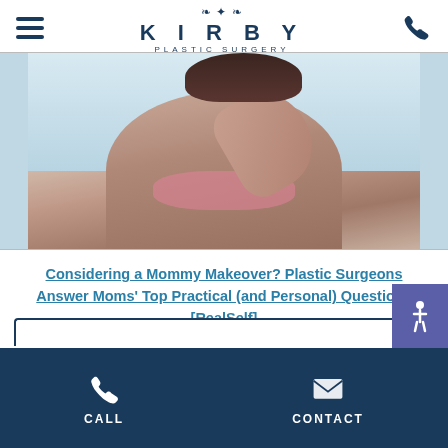KIRBY PLASTIC SURGERY
[Figure (photo): A woman in a pink bikini at a beach, photographed from the torso area, with water/ocean in the background.]
Considering a Mommy Makeover? Plastic Surgeons Answer Moms' Top Practical (and Personal) Questions [RealSelf]
[Figure (other): Accessibility icon button (wheelchair symbol) in purple/indigo background]
CALL   CONTACT